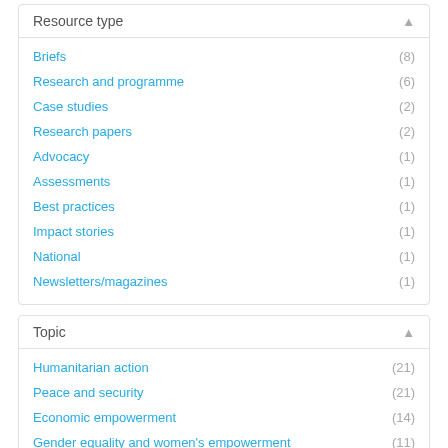Resource type
Briefs (8)
Research and programme (6)
Case studies (2)
Research papers (2)
Advocacy (1)
Assessments (1)
Best practices (1)
Impact stories (1)
National (1)
Newsletters/magazines (1)
Topic
Humanitarian action (21)
Peace and security (21)
Economic empowerment (14)
Gender equality and women's empowerment (11)